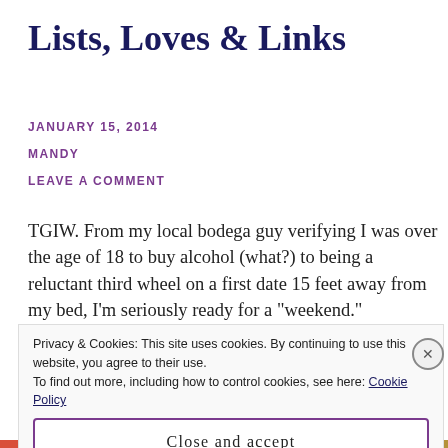Lists, Loves & Links
JANUARY 15, 2014
MANDY
LEAVE A COMMENT
TGIW. From my local bodega guy verifying I was over the age of 18 to buy alcohol (what?) to being a reluctant third wheel on a first date 15 feet away from my bed, I’m seriously ready for a “weekend.”
Privacy & Cookies: This site uses cookies. By continuing to use this website, you agree to their use.
To find out more, including how to control cookies, see here: Cookie Policy
Close and accept